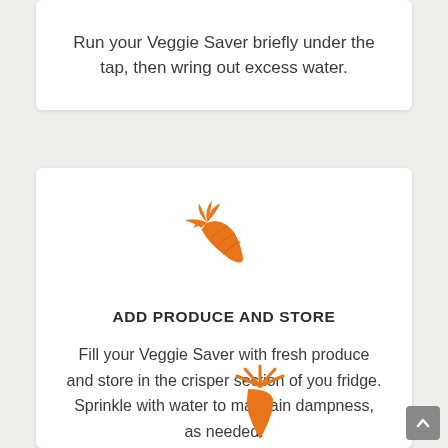Run your Veggie Saver briefly under the tap, then wring out excess water.
[Figure (illustration): Orange carrot icon]
ADD PRODUCE AND STORE
Fill your Veggie Saver with fresh produce and store in the crisper section of you fridge. Sprinkle with water to maintain dampness, as needed.